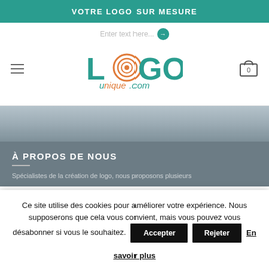VOTRE LOGO SUR MESURE
[Figure (logo): LogoUnique.com logo with teal L, orange fingerprint O, teal GO, and orange/teal 'unique.com' text]
À PROPOS DE NOUS
Spécialistes de la création de logo, nous proposons plusieurs
Ce site utilise des cookies pour améliorer votre expérience. Nous supposerons que cela vous convient, mais vous pouvez vous désabonner si vous le souhaitez.
Accepter   Rejeter   En savoir plus